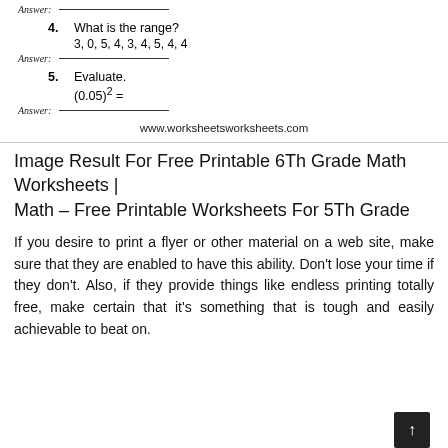Answer: ___________
4. What is the range?
3, 0, 5, 4, 3, 4, 5, 4, 4
Answer: ___________
5. Evaluate.
Answer: ___________
www.worksheetsworksheets.com
Image Result For Free Printable 6Th Grade Math Worksheets | Math – Free Printable Worksheets For 5Th Grade
If you desire to print a flyer or other material on a web site, make sure that they are enabled to have this ability. Don't lose your time if they don't. Also, if they provide things like endless printing totally free, make certain that it's something that is tough and easily achievable to beat on.